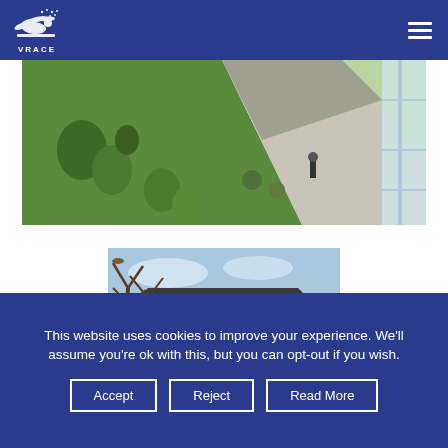VRACE
[Figure (photo): Aerial view of a green campus courtyard with grass, pathways, trees, and a person walking]
[Figure (photo): View of a yellow building with glass extension and bare trees, appearing to be a university building]
This website uses cookies to improve your experience. We'll assume you're ok with this, but you can opt-out if you wish.
Accept
Reject
Read More